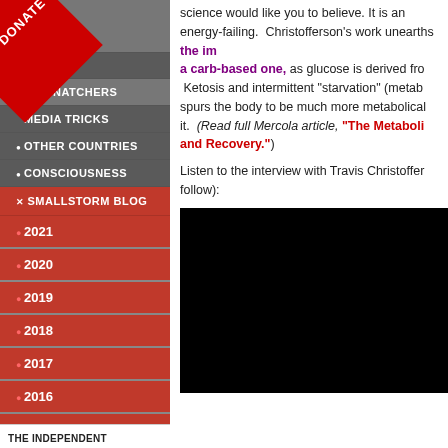[Figure (screenshot): Website navigation sidebar with DONATE banner, menu items including BODY SNATCHERS, MEDIA TRICKS, OTHER COUNTRIES, CONSCIOUSNESS, SMALLSTORM BLOG, year links 2021-2015, PODCASTS, NEWSLETTERS, and THE INDEPENDENT footer]
science would like you to believe. It is an energy-failing. Christofferson's work unearths the importance of a fat-based metabolism vs. a carb-based one, as glucose is derived from carbohydrates. Ketosis and intermittent "starvation" (metabolic flexibility) spurs the body to be much more metabolically efficient at using it. (Read full Mercola article, "The Metabolic Miracle of Fasting and Recovery.")
Listen to the interview with Travis Christofferson (video to follow):
[Figure (screenshot): Black video player embed area]